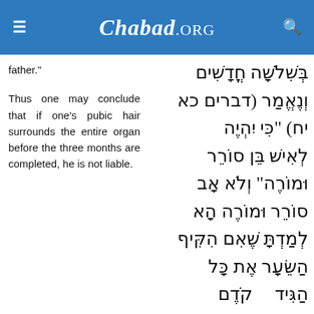Chabad.ORG
father."
Thus one may conclude that if one's pubic hair surrounds the entire organ before the three months are completed, he is not liable.
בְּשִׁלֹשָׁה חֳדָשִׁים וְנֶאֱמַר (דברים כא יח) "כִּי יִהְיֶה לְאִישׁ בֵּן סוֹרֵר וּמוֹרֶה" וְלֹא אָב סוֹרֵר וּמוֹרֶה הָא לְמַדְתָּ שֶׁאִם הִקִּיף הַשֵּׂעָר אֶת כָּל הַגִּיד קֹדֶם שֶׁיַּשְׁלִים שְׁלֹשָׁה חֳדָשִׁים הֲרֵי זֶה